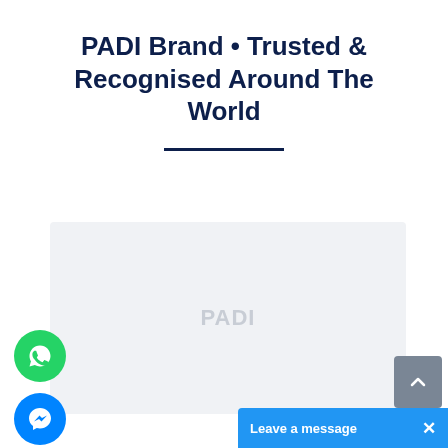PADI Brand • Trusted & Recognised Around The World
[Figure (other): A light gray rectangular content area representing a blurred or loading image/video placeholder for PADI brand content]
[Figure (other): WhatsApp chat button - green circle with WhatsApp icon]
[Figure (other): Facebook Messenger chat button - blue circle with Messenger icon]
[Figure (other): Scroll to top button - gray rectangle with upward chevron arrow]
Leave a message  ×